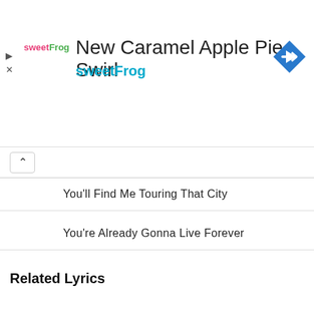[Figure (infographic): Ad banner for sweetFrog: New Caramel Apple Pie Swirl with sweetFrog logo, play and close icons, and blue diamond navigation arrow icon]
You'll Find Me Touring That City
You're Already Gonna Live Forever
You've Been So Faithful
Related Lyrics
Keep Silence All Created Things
Keep Thou Me (Jesus Savior)
Keep Thy Heart With Earnest